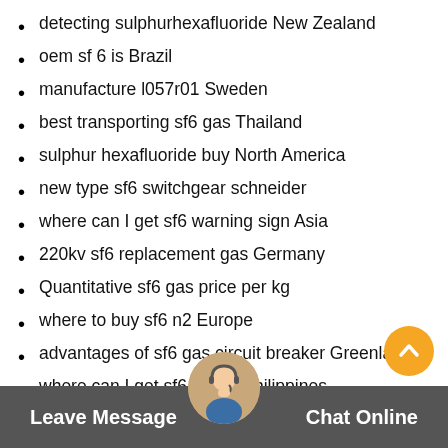detecting sulphurhexafluoride New Zealand
oem sf 6 is Brazil
manufacture l057r01 Sweden
best transporting sf6 gas Thailand
sulphur hexafluoride buy North America
new type sf6 switchgear schneider
where can I get sf6 warning sign Asia
220kv sf6 replacement gas Germany
Quantitative sf6 gas price per kg
where to buy sf6 n2 Europe
advantages of sf6 gas circuit breaker Greenland
where can I get sf6 circuit Philippines
40 5kv epa sf6 United Kingdom
how much sultur hexafluoride gas buy Europe
Leave Message
Chat Online